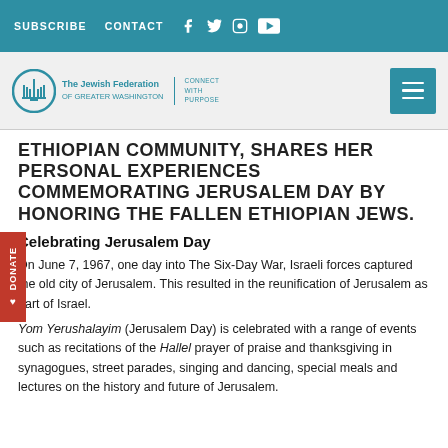SUBSCRIBE  CONTACT
[Figure (logo): The Jewish Federation of Greater Washington logo with menorah icon and 'Connect with Purpose' tagline, plus hamburger menu button]
ETHIOPIAN COMMUNITY, SHARES HER PERSONAL EXPERIENCES COMMEMORATING JERUSALEM DAY BY HONORING THE FALLEN ETHIOPIAN JEWS.
Celebrating Jerusalem Day
On June 7, 1967, one day into The Six-Day War, Israeli forces captured the old city of Jerusalem. This resulted in the reunification of Jerusalem as part of Israel.
Yom Yerushalayim (Jerusalem Day) is celebrated with a range of events such as recitations of the Hallel prayer of praise and thanksgiving in synagogues, street parades, singing and dancing, special meals and lectures on the history and future of Jerusalem.